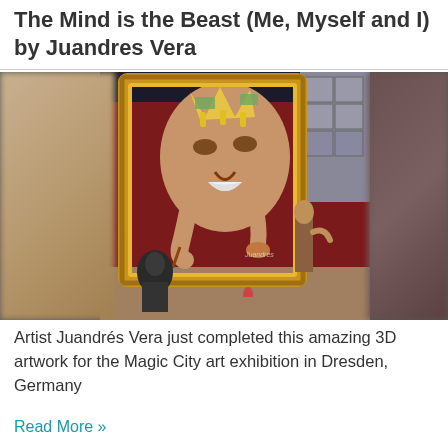The Mind is the Beast (Me, Myself and I) by Juandres Vera
[Figure (photo): 3D artwork mural by Juandrés Vera showing a giant face emerging from a golden frame, with artists working on the piece at the Magic City art exhibition in Dresden, Germany]
Artist Juandrés Vera just completed this amazing 3D artwork for the Magic City art exhibition in Dresden, Germany
Read More »